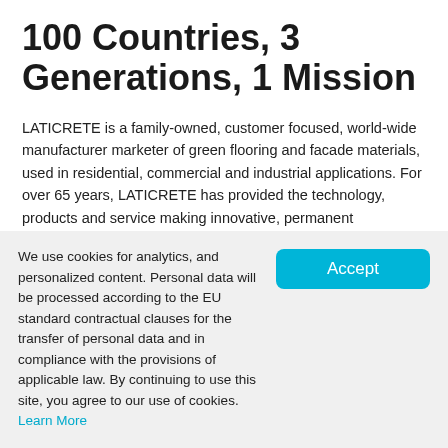100 Countries, 3 Generations, 1 Mission
LATICRETE is a family-owned, customer focused, world-wide manufacturer marketer of green flooring and facade materials, used in residential, commercial and industrial applications. For over 65 years, LATICRETE has provided the technology, products and service making innovative, permanent installations and repairs for the construction market. Architecturally specified and professionally endorsed, LATICRETE offers a dedication to quality that results in globally proven solutions for virtually every flooring, waterproofing and facade application.
We use cookies for analytics, and personalized content. Personal data will be processed according to the EU standard contractual clauses for the transfer of personal data and in compliance with the provisions of applicable law. By continuing to use this site, you agree to our use of cookies. Learn More